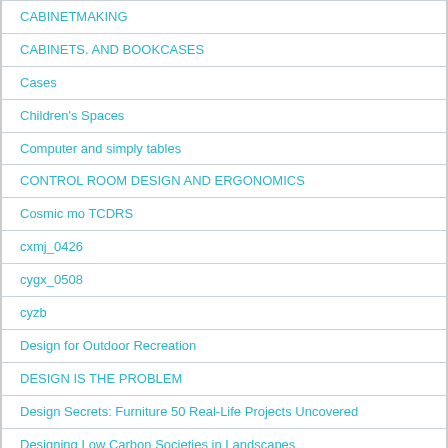CABINETMAKING
CABINETS. AND BOOKCASES
Cases
Children's Spaces
Computer and simply tables
CONTROL ROOM DESIGN AND ERGONOMICS
Cosmic mo TCDRS
cxmj_0426
cygx_0508
cyzb
Design for Outdoor Recreation
DESIGN IS THE PROBLEM
Design Secrets: Furniture 50 Real-Life Projects Uncovered
Designing Low Carbon Societies in Landscapes
Devices. Pleasant trifles